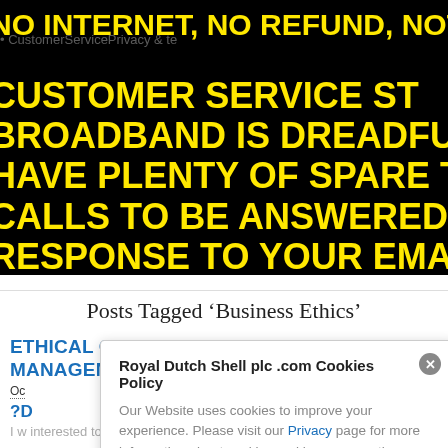[Figure (photo): Black background image with large bold yellow uppercase text reading: 'no internet, no refund, not... CUSTOMER SERVICE ST... BROADBAND IS DREADFUL... HAVE PLENTY OF SPARE TIM... CALLS TO BE ANSWERED AN... RESPONSE TO YOUR EMAIL C...']
Posts Tagged 'Business Ethics'
ETHICAL CONTROVERSIES IN BUSINESS MANAGEMENT BY DOKUMENTI... OM...
October...
?D...
I w... interested to see on the Dutch Shell website extracts from my a...
Royal Dutch Shell plc .com Cookies Policy
Our Website uses cookies to improve your experience. Please visit our Privacy page for more information about cookies and how we use them.